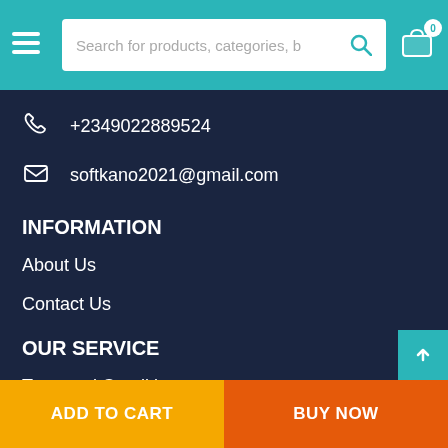Search for products, categories, b
+2349022889524
softkano2021@gmail.com
INFORMATION
About Us
Contact Us
OUR SERVICE
Term and Conditions
Delivery Information
ADD TO CART   BUY NOW